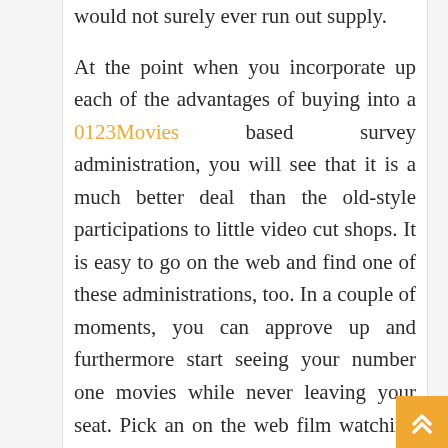would not surely ever run out supply. At the point when you incorporate up each of the advantages of buying into a 0123Movies based survey administration, you will see that it is a much better deal than the old-style participations to little video cut shops. It is easy to go on the web and find one of these administrations, too. In a couple of moments, you can approve up and furthermore start seeing your number one movies while never leaving your seat. Pick an on the web film watching arrangement with incalculable movie information to pick from. You will appreciate extra with the timetable of all film titles you are